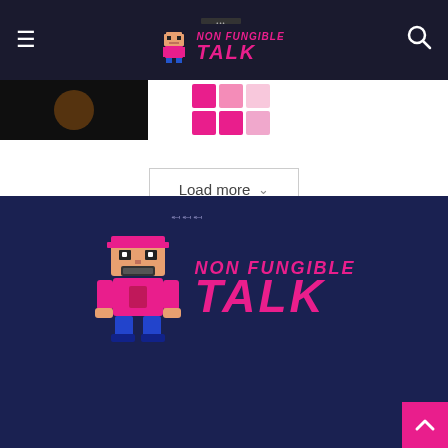Non Fungible Talk - navigation bar with hamburger menu, logo, and search icon
[Figure (screenshot): Website screenshot showing top navigation bar with hamburger menu, Non Fungible Talk logo (pixel art character + pink text), and search icon on dark navy background. Below: thumbnail image on left, pink loading skeleton squares in center, and a Load more dropdown button.]
[Figure (logo): Non Fungible Talk logo large version: pixel art character on left, NON FUNGIBLE in small pink italic text and TALK in large pink italic text on dark navy background]
NonFungible Talk is the leader in NFT news, information on cryptocurrency, and the future of money. Non-Fungible Talk is a media outlet that strives to provide constant insightful informa...